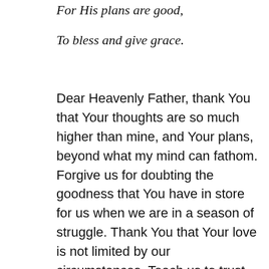For His plans are good,
To bless and give grace.
Dear Heavenly Father, thank You that Your thoughts are so much higher than mine, and Your plans, beyond what my mind can fathom. Forgive us for doubting the goodness that You have in store for us when we are in a season of struggle. Thank You that Your love is not limited by our circumstances. Teach us to trust You in all things and at all times. Show us how to love those around us in the ways that they need love most. May many come into a lasting relationship with You. Be glorified O